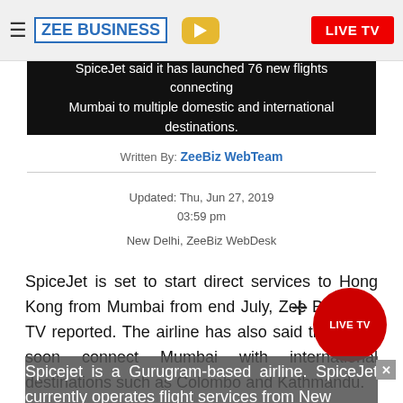ZEE BUSINESS | LIVE TV
[Figure (screenshot): Dark banner image with white text: SpiceJet said it has launched 76 new flights connecting Mumbai to multiple domestic and international destinations.]
Written By: ZeeBiz WebTeam
Updated: Thu, Jun 27, 2019
03:59 pm
New Delhi, ZeeBiz WebDesk
SpiceJet is set to start direct services to Hong Kong from Mumbai from end July, Zee Business TV reported. The airline has also said that it will soon connect Mumbai with international destinations such as Colombo and Kathmandu.
Spicejet is a Gurugram-based airline. SpiceJet currently operates flight services from New